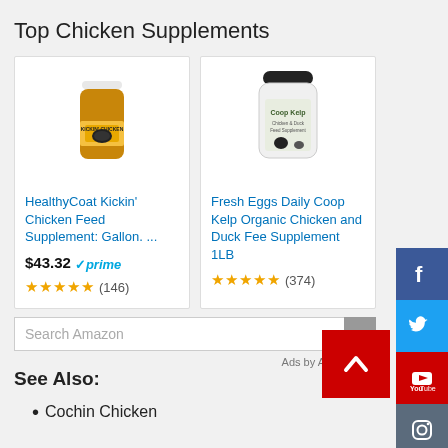Top Chicken Supplements
[Figure (screenshot): Product card: HealthyCoat Kickin' Chicken Feed Supplement: Gallon. ... $43.32 prime, 5 stars, (146) reviews]
[Figure (screenshot): Product card: Fresh Eggs Daily Coop Kelp Organic Chicken and Duck Feed Supplement 1LB, 5 stars, (374) reviews]
Search Amazon
Ads by Amazon
See Also:
Cochin Chicken